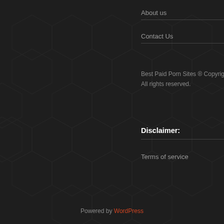About us
Contact Us
Best Paid Porn Sites ® Copyright 2022 – All rights reserved.
Disclaimer:
Terms of service
Powered by WordPress